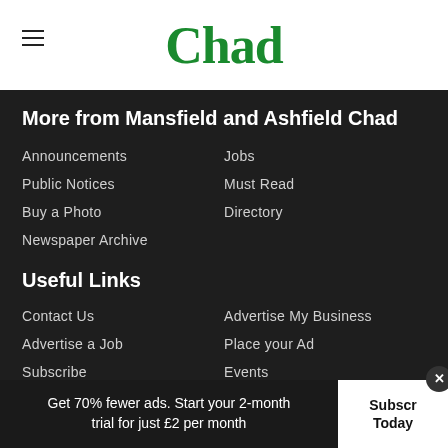Chad
More from Mansfield and Ashfield Chad
Announcements
Jobs
Public Notices
Must Read
Buy a Photo
Directory
Newspaper Archive
Useful Links
Contact Us
Advertise My Business
Advertise a Job
Place your Ad
Subscribe
Events
Newsletter
Archive
Readers Charter
Get 70% fewer ads. Start your 2-month trial for just £2 per month